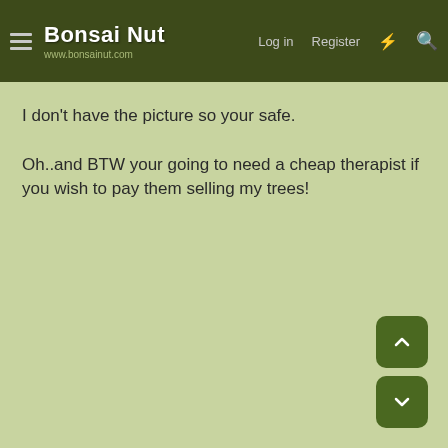Bonsai Nut — www.bonsainut.com — Log in | Register
I don't have the picture so your safe.
Oh..and BTW your going to need a cheap therapist if you wish to pay them selling my trees!